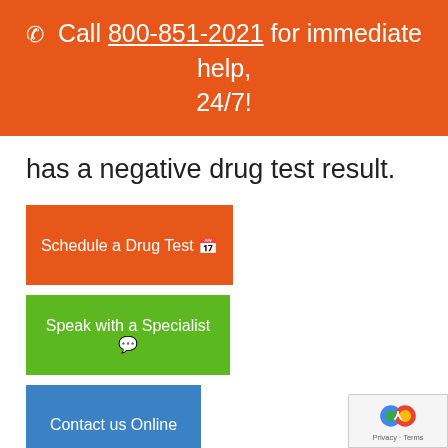☎ Call 800-851-2021 for immediate help, 24/7!
has a negative drug test result.
Schedule a Drug Test 📅
Speak with a Specialist 💬
Contact us Online
Drug testing methods
We can administer drug tests throughout Thunderbolt using several